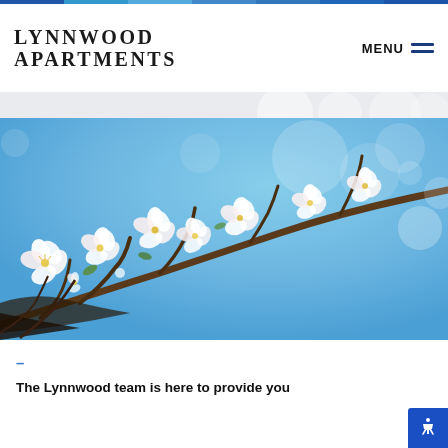LYNNWOOD APARTMENTS
[Figure (photo): Close-up photo of white cherry blossoms on a branch against a bright blue sky]
–
The Lynnwood team is here to provide you